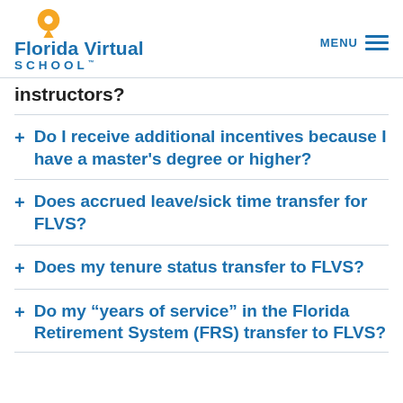Florida Virtual School
instructors?
+ Do I receive additional incentives because I have a master's degree or higher?
+ Does accrued leave/sick time transfer for FLVS?
+ Does my tenure status transfer to FLVS?
+ Do my “years of service” in the Florida Retirement System (FRS) transfer to FLVS?